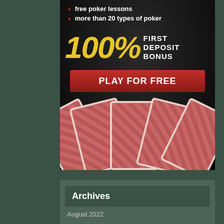free poker lessons
more than 20 types of poker
[Figure (infographic): Poker advertisement banner showing 100% FIRST DEPOSIT BONUS text in gold and white on black background, with a PLAY FOR FREE red button, and fanned playing cards at the bottom]
Archives
August 2022